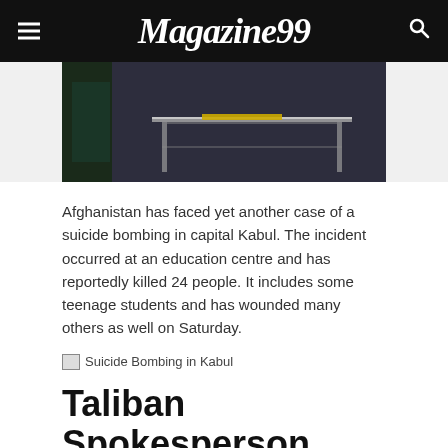Magazine99
[Figure (photo): Partial photo of an indoor scene with metal table/gurney and a person partially visible at left edge]
Afghanistan has faced yet another case of a suicide bombing in capital Kabul. The incident occurred at an education centre and has reportedly killed 24 people. It includes some teenage students and has wounded many others as well on Saturday.
[Figure (photo): Broken image placeholder labeled: Suicide Bombing in Kabul]
Taliban Spokesperson Denied Suicide